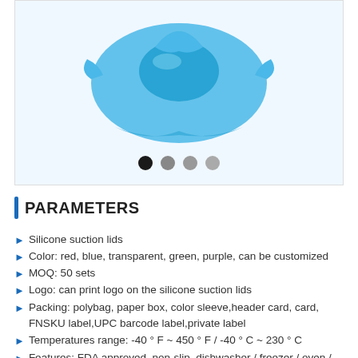[Figure (photo): Blue silicone suction lid product photo, showing a blue silicone lid shape from above against a light blue/white background, with four navigation dots below (one black, three gray)]
PARAMETERS
Silicone suction lids
Color: red, blue, transparent, green, purple, can be customized
MOQ: 50 sets
Logo: can print logo on the silicone suction lids
Packing: polybag, paper box, color sleeve,header card, card, FNSKU label,UPC barcode label,private label
Temperatures range: -40 ° F ~ 450 ° F / -40 ° C ~ 230 ° C
Features: FDA approved, non-slip, dishwasher / freezer / oven / microwave safe
Certification: FDA, LFGB, SGS
Payment Method: PayPal, T/T, Western Union, Escrow, Trade